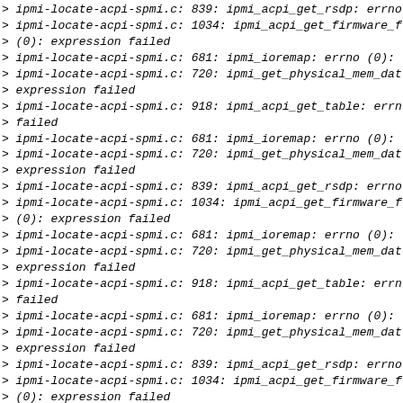> ipmi-locate-acpi-spmi.c: 839: ipmi_acpi_get_rsdp: errno
> ipmi-locate-acpi-spmi.c: 1034: ipmi_acpi_get_firmware_
> (0): expression failed
> ipmi-locate-acpi-spmi.c: 681: ipmi_ioremap: errno (0):
> ipmi-locate-acpi-spmi.c: 720: ipmi_get_physical_mem_da
> expression failed
> ipmi-locate-acpi-spmi.c: 918: ipmi_acpi_get_table: err
> failed
> ipmi-locate-acpi-spmi.c: 681: ipmi_ioremap: errno (0):
> ipmi-locate-acpi-spmi.c: 720: ipmi_get_physical_mem_da
> expression failed
> ipmi-locate-acpi-spmi.c: 839: ipmi_acpi_get_rsdp: errno
> ipmi-locate-acpi-spmi.c: 1034: ipmi_acpi_get_firmware_
> (0): expression failed
> ipmi-locate-acpi-spmi.c: 681: ipmi_ioremap: errno (0):
> ipmi-locate-acpi-spmi.c: 720: ipmi_get_physical_mem_da
> expression failed
> ipmi-locate-acpi-spmi.c: 918: ipmi_acpi_get_table: err
> failed
> ipmi-locate-acpi-spmi.c: 681: ipmi_ioremap: errno (0):
> ipmi-locate-acpi-spmi.c: 720: ipmi_get_physical_mem_da
> expression failed
> ipmi-locate-acpi-spmi.c: 839: ipmi_acpi_get_rsdp: errno
> ipmi-locate-acpi-spmi.c: 1034: ipmi_acpi_get_firmware_
> (0): expression failed
> ipmi-locate-acpi-spmi.c: 681: ipmi_ioremap: errno (0):
> ipmi-locate-acpi-spmi.c: 720: ipmi_get_physical_mem_da
> expression failed
> ipmi-locate-acpi-spmi.c: 918: ipmi_acpi_get_table: err
> failed
> ipmi-locate-acpi-spmi.c: 881: ipmi_ioremap: errno (0):